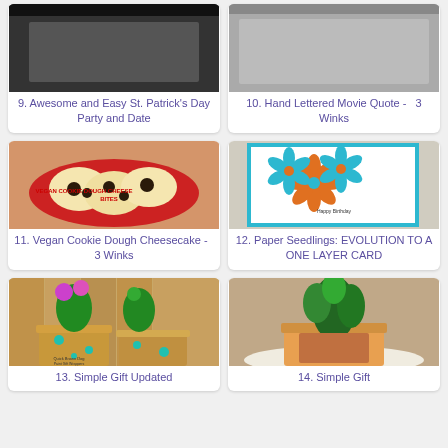[Figure (photo): Partially visible image for item 9 - Awesome and Easy St. Patrick's Day Party and Date]
9. Awesome and Easy St. Patrick's Day Party and Date
[Figure (photo): Partially visible image for item 10 - Hand Lettered Movie Quote - 3 Winks]
10. Hand Lettered Movie Quote -   3 Winks
[Figure (photo): Vegan cookie dough cheesecake bites on a red plate]
11. Vegan Cookie Dough Cheesecake -   3 Winks
[Figure (photo): Handmade card with blue and orange paper flowers on white background]
12. Paper Seedlings: EVOLUTION TO A ONE LAYER CARD
[Figure (photo): Flower pots wrapped with painted gift wrappers with teal hearts, pink and purple flowers]
13. Simple Gift Updated
[Figure (photo): Plant in terracotta pot wrapped with orange fabric and green ribbon]
14. Simple Gift